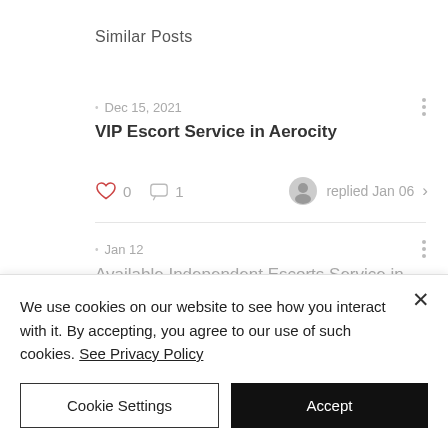Similar Posts
Dec 15, 2021
VIP Escort Service in Aerocity
0 likes, 1 comment, replied Jan 06
Jan 12
Available Independent Escorts Service in Aerocity
#aerocityescortsmodels
We use cookies on our website to see how you interact with it. By accepting, you agree to our use of such cookies. See Privacy Policy
Cookie Settings
Accept